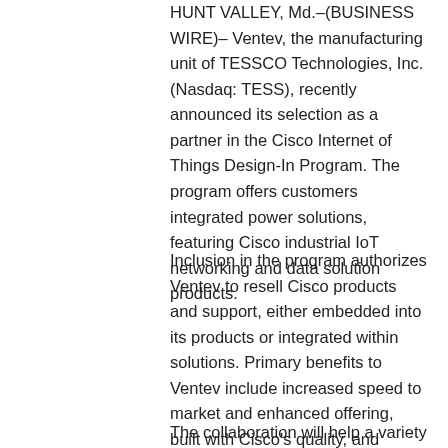HUNT VALLEY, Md.–(BUSINESS WIRE)– Ventev, the manufacturing unit of TESSCO Technologies, Inc. (Nasdaq: TESS), recently announced its selection as a partner in the Cisco Internet of Things Design-In Program. The program offers customers integrated power solutions, featuring Cisco industrial IoT networking and data solution products.
Inclusion in the program authorizes Ventev to resell Cisco products and support, either embedded into its products or integrated within solutions. Primary benefits to Ventev include increased speed to market and enhanced offering, built with Cisco's quality, and reliable IoT products.
The collaboration will help a variety of customers including Utilities, integrators of